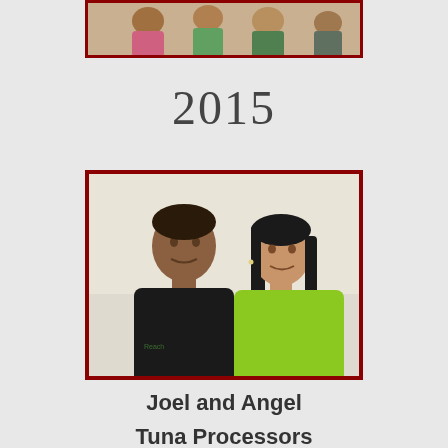[Figure (photo): Partial photo at top of page showing multiple people, cropped, with dark red border]
2015
[Figure (photo): Photo of two people: Joel (man in black shirt) and Angel (woman in green shirt), posed together indoors, with dark red border]
Joel and Angel
Tuna Processors